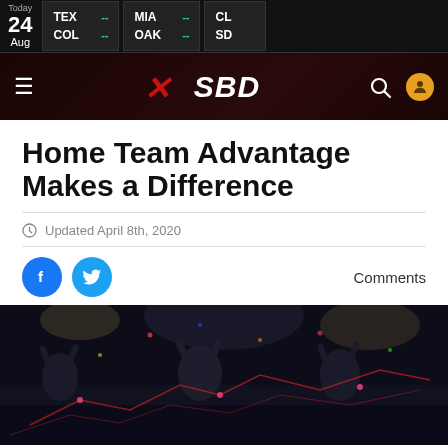24 Aug | TEX -- | COL -- | MIA -- | OAK -- | CL... | SD...
[Figure (logo): SBD sports betting website logo with red X mark and white SBD text on dark background]
Home Team Advantage Makes a Difference
Updated April 8th, 2020
[Figure (photo): Sports fans celebrating in a stadium with arms raised, red data visualization overlay, dark atmospheric lighting]